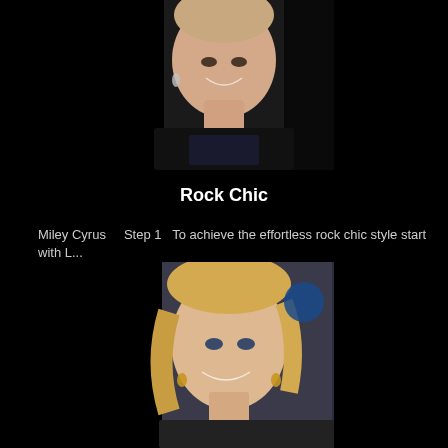[Figure (photo): Close-up photo of a young woman (Miley Cyrus) smiling, wearing a black sequined sleeveless dress, with short blonde hair and drop earrings, against a dark background.]
Rock Chic
Miley Cyrus    Step 1   To achieve the effortless rock chic style start with L...
[Figure (photo): Close-up photo of a blonde woman (Reese Witherspoon) smiling, with wavy hair, wearing gold drop earrings, against a decorated background with blue and gold ornaments.]